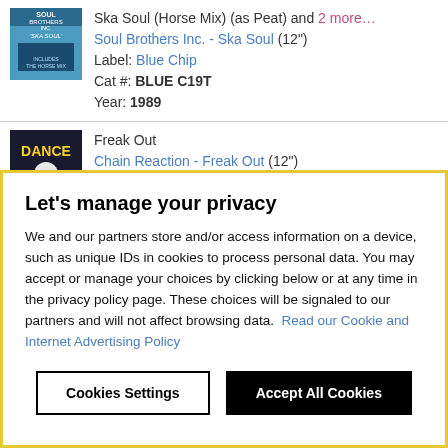[Figure (illustration): Soul Brothers Inc. - Ska Soul album cover thumbnail, blue background with text]
Ska Soul (Horse Mix) (as Peat) and 2 more... Soul Brothers Inc. - Ska Soul (12") Label: Blue Chip Cat #: BLUE C19T Year: 1989
[Figure (illustration): Chain Reaction - Dance Freak album cover thumbnail, dark background with DANCE FREAK text]
Freak Out Chain Reaction - Freak Out (12")
Let's manage your privacy
We and our partners store and/or access information on a device, such as unique IDs in cookies to process personal data. You may accept or manage your choices by clicking below or at any time in the privacy policy page. These choices will be signaled to our partners and will not affect browsing data. Read our Cookie and Internet Advertising Policy
Cookies Settings
Accept All Cookies